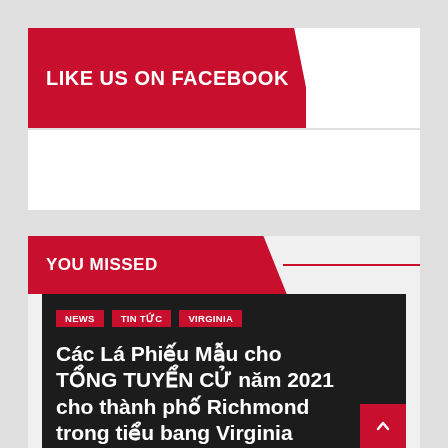LIKE US ON FACEBOOK
YOU MISSED
Các Lá Phiếu Mẫu cho TỔNG TUYỂN CỬ năm 2021 cho thành phố Richmond trong tiểu bang Virginia
NEWS | TIN TỨC | VIRGINIA